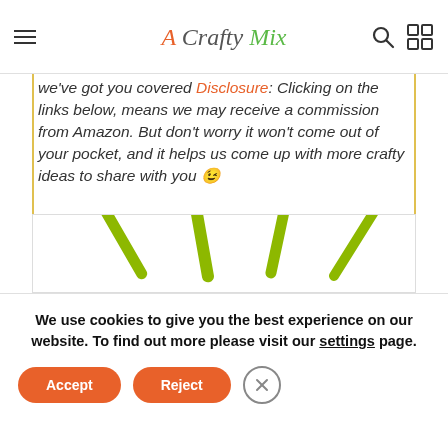A Crafty Mix (navigation header with hamburger menu, search, and grid icons)
we've got you covered Disclosure: Clicking on the links below, means we may receive a commission from Amazon. But don't worry it won't come out of your pocket, and it helps us come out with more crafty ideas to share with you 😉
[Figure (photo): Green kitchen utensils including spatulas, spoons, and a masher arranged in a fan shape against a white background]
We use cookies to give you the best experience on our website. To find out more please visit our settings page.
Accept
Reject